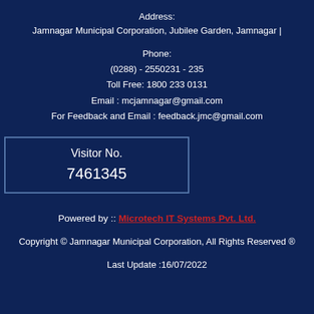Address:
Jamnagar Municipal Corporation, Jubilee Garden, Jamnagar |
Phone:
(0288) - 2550231 - 235
Toll Free: 1800 233 0131
Email : mcjamnagar@gmail.com
For Feedback and Email : feedback.jmc@gmail.com
Visitor No.
7461345
Powered by :: Microtech IT Systems Pvt. Ltd.
Copyright © Jamnagar Municipal Corporation, All Rights Reserved ®
Last Update :16/07/2022